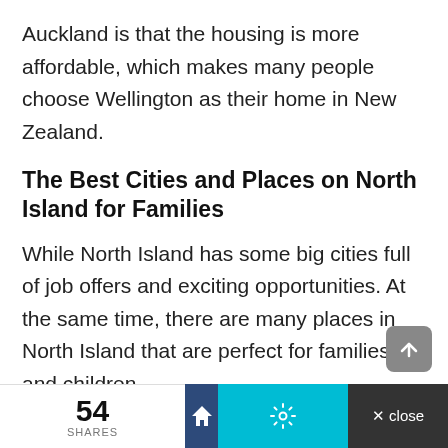Auckland is that the housing is more affordable, which makes many people choose Wellington as their home in New Zealand.
The Best Cities and Places on North Island for Families
While North Island has some big cities full of job offers and exciting opportunities. At the same time, there are many places in North Island that are perfect for families and children.
54 SHARES